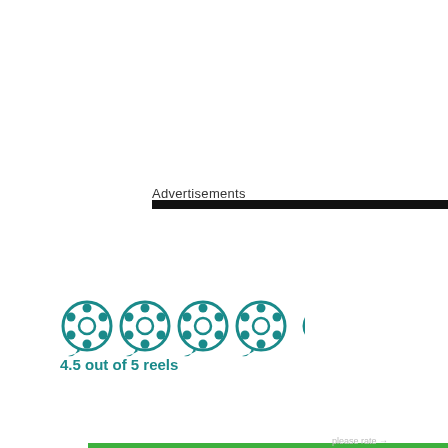Advertisements
[Figure (other): Rating display showing 4 full film reel icons and 1 half reel icon in teal color]
4.5 out of 5 reels
Privacy & Cookies: This site uses cookies. By continuing to use this website, you agree to their use.
To find out more, including how to control cookies, see here: Cookie Policy
Close and accept